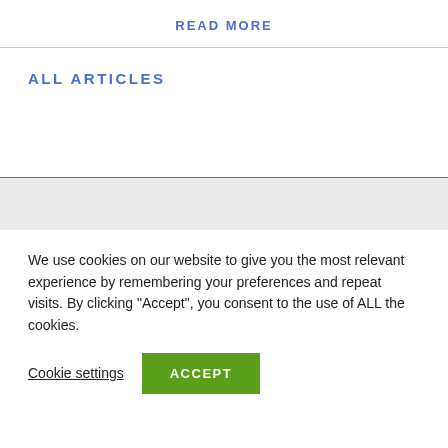READ MORE
ALL ARTICLES
We use cookies on our website to give you the most relevant experience by remembering your preferences and repeat visits. By clicking “Accept”, you consent to the use of ALL the cookies.
Cookie settings
ACCEPT